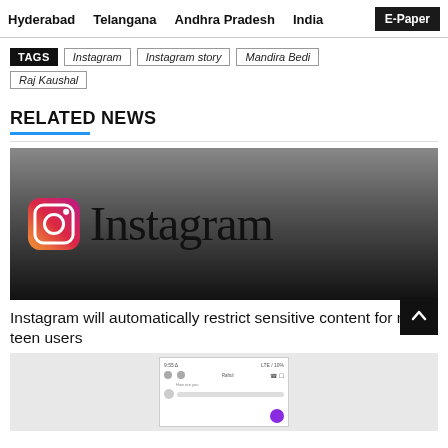Hyderabad  Telangana  Andhra Pradesh  India  E-Paper
TAGS  Instagram  Instagram story  Mandira Bedi  Raj Kaushal
RELATED NEWS
[Figure (photo): Instagram logo on dark gradient background]
Instagram will automatically restrict sensitive content for new teen users
[Figure (screenshot): Mobile app screenshot showing Instagram messaging interface]